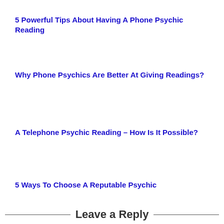5 Powerful Tips About Having A Phone Psychic Reading
Why Phone Psychics Are Better At Giving Readings?
A Telephone Psychic Reading – How Is It Possible?
5 Ways To Choose A Reputable Psychic
Leave a Reply